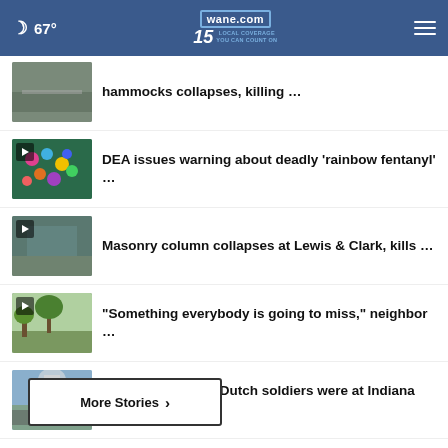67° wane.com 15 LOCAL COVERAGE YOU CAN COUNT ON
hammocks collapses, killing …
DEA issues warning about deadly 'rainbow fentanyl' …
Masonry column collapses at Lewis & Clark, kills …
"Something everybody is going to miss," neighbor …
EXPLAINER: Why Dutch soldiers were at Indiana military …
More Stories >